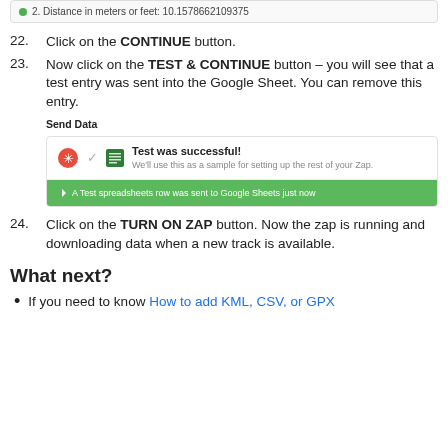[Figure (screenshot): Screenshot showing a field labeled '2. Distance in meters or feet: 10.1578662109375' with a green dot indicator.]
22. Click on the CONTINUE button.
23. Now click on the TEST & CONTINUE button – you will see that a test entry was sent into the Google Sheet. You can remove this entry.
[Figure (screenshot): Zapier widget showing 'Send Data' label, 'Test was successful! We'll use this as a sample for setting up the rest of your Zap.' and a green bar saying 'A Test spreadsheets row was sent to Google Sheets just now'.]
24. Click on the TURN ON ZAP button. Now the zap is running and downloading data when a new track is available.
What next?
If you need to know How to add KML, CSV, or GPX